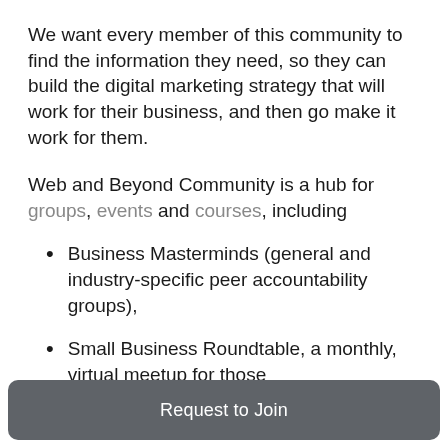We want every member of this community to find the information they need, so they can build the digital marketing strategy that will work for their business, and then go make it work for them.
Web and Beyond Community is a hub for groups, events and courses, including
Business Masterminds (general and industry-specific peer accountability groups),
Small Business Roundtable, a monthly, virtual meetup for those
Request to Join